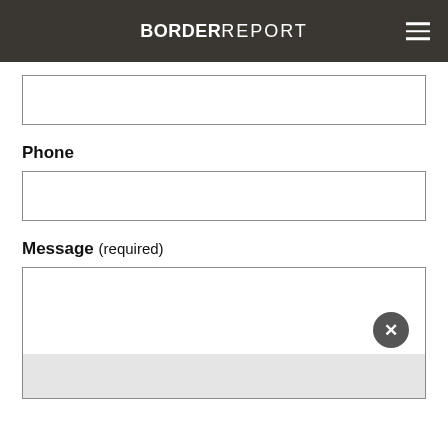BORDER REPORT
[Figure (screenshot): Empty text input field with border]
Phone
[Figure (screenshot): Empty phone input field with border]
Message (required)
[Figure (screenshot): Large textarea input field with grey bottom section and circular close/dismiss button with X]